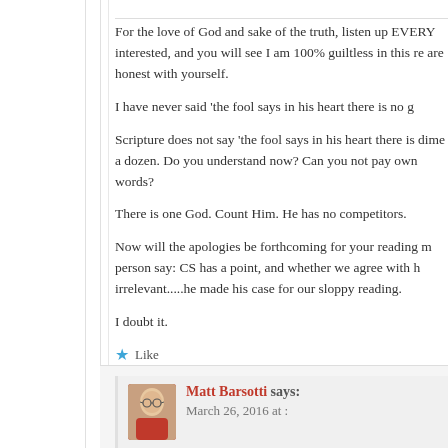For the love of God and sake of the truth, listen up EVERY interested, and you will see I am 100% guiltless in this re are honest with yourself.
I have never said 'the fool says in his heart there is no g
Scripture does not say 'the fool says in his heart there is dime a dozen. Do you understand now? Can you not pay own words?
There is one God. Count Him. He has no competitors.
Now will the apologies be forthcoming for your reading m person say: CS has a point, and whether we agree with h irrelevant.....he made his case for our sloppy reading.
I doubt it.
Like
Reply
Matt Barsotti says:
March 26, 2016 at :